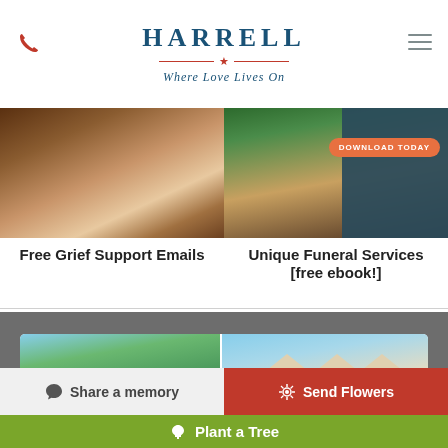HARRELL — Where Love Lives On
[Figure (photo): Close-up photo of hands being held, soft warm tones]
Free Grief Support Emails
[Figure (photo): Baseball glove with ball on grass, dark teal background panel with Download Today button]
Unique Funeral Services [free ebook!]
[Figure (photo): Two side-by-side photos of funeral home buildings exterior]
Share a memory
Send Flowers
Plant a Tree